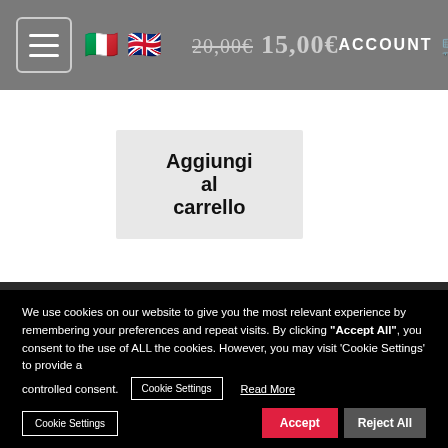20,00€ 15,00€ ACCOUNT 0
Aggiungi al carrello
We use cookies on our website to give you the most relevant experience by remembering your preferences and repeat visits. By clicking "Accept All", you consent to the use of ALL the cookies. However, you may visit 'Cookie Settings' to provide a controlled consent.
Cookie Settings   Read More
Cookie Settings   Accept   Reject All